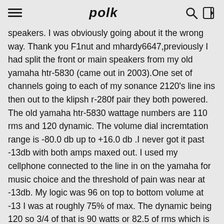polk
speakers. I was obviously going about it the wrong way. Thank you F1nut and mhardy6647,previously I had split the front or main speakers from my old yamaha htr-5830 (came out in 2003).One set of channels going to each of my sonance 2120's line ins then out to the klipsh r-280f pair they both powered. The old yamaha htr-5830 wattage numbers are 110 rms and 120 dynamic. The volume dial incremtation range is -80.0 db up to +16.0 db .I never got it past -13db with both amps maxed out. I used my cellphone connected to the line in on the yamaha for music choice and the threshold of pain was near at -13db. My logic was 96 on top to bottom volume at -13 I was at roughly 75% of max. The dynamic being 120 so 3/4 of that is 90 watts or 82.5 of rms which is more than the 60 coming out of the SONANCE 260X3 I was going to use. I will heed your warnings and not utilize the 260 thank you both agian.